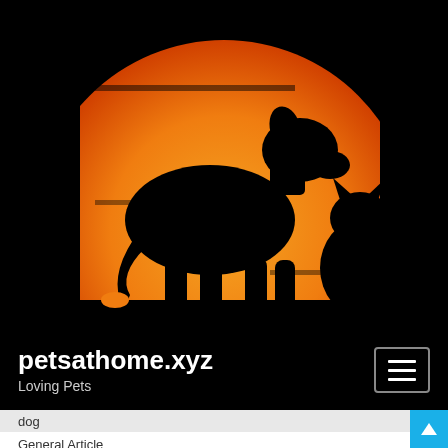[Figure (logo): Petsathome.xyz logo: black background with orange/red gradient circular sun shape, silhouettes of a large dog standing and a cat sitting in front of it]
petsathome.xyz
Loving Pets
dog
General Article